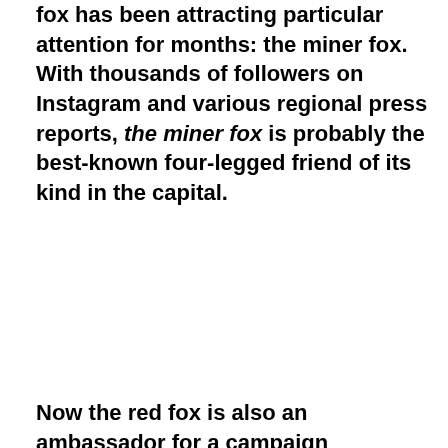fox has been attracting particular attention for months: the miner fox. With thousands of followers on Instagram and various regional press reports, the miner fox is probably the best-known four-legged friend of its kind in the capital.
Now the red fox is also an ambassador for a campaign